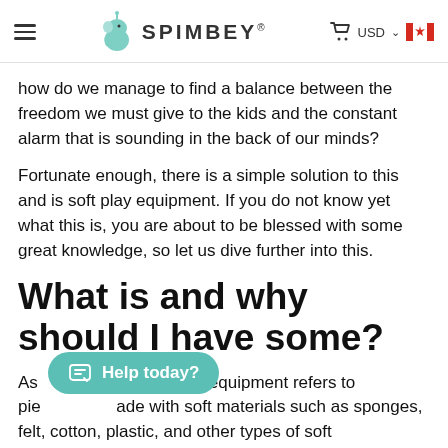SPIMBEY — USD (CAD)
how do we manage to find a balance between the freedom we must give to the kids and the constant alarm that is sounding in the back of our minds?
Fortunate enough, there is a simple solution to this and is soft play equipment. If you do not know yet what this is, you are about to be blessed with some great knowledge, so let us dive further into this.
What is and why should I have some?
As [Help today?] s, soft play equipment refers to pieces made with soft materials such as sponges, felt, cotton, plastic, and other types of soft